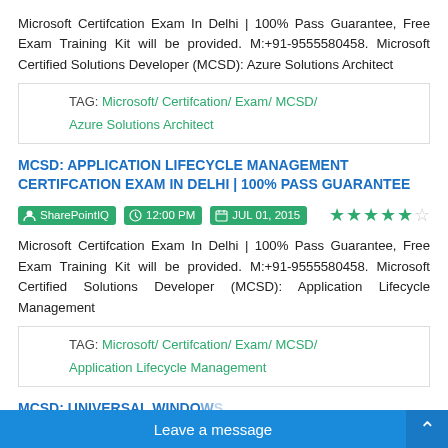Microsoft Certifcation Exam In Delhi | 100% Pass Guarantee, Free Exam Training Kit will be provided. M:+91-9555580458. Microsoft Certified Solutions Developer (MCSD): Azure Solutions Architect
TAG: Microsoft/ Certifcation/ Exam/ MCSD/ Azure Solutions Architect
MCSD: APPLICATION LIFECYCLE MANAGEMENT CERTIFCATION EXAM IN DELHI | 100% PASS GUARANTEE
SharePointIQ  12:00 PM  JUL 01, 2015  ★★★★½
Microsoft Certifcation Exam In Delhi | 100% Pass Guarantee, Free Exam Training Kit will be provided. M:+91-9555580458. Microsoft Certified Solutions Developer (MCSD): Application Lifecycle Management
TAG: Microsoft/ Certifcation/ Exam/ MCSD/ Application Lifecycle Management
MCSD: UNIVERSAL WINDOWS... IN DELHI | 100% PASS GUAR...
Leave a message